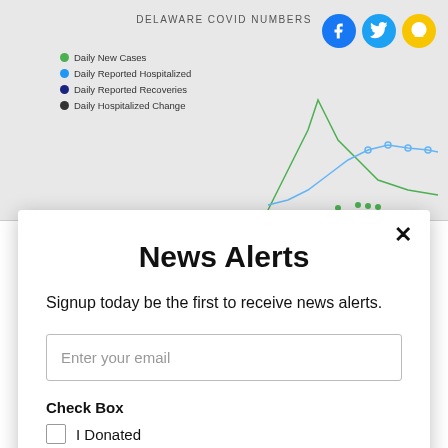[Figure (screenshot): Background screenshot of Delaware COVID Numbers line chart with legend showing Daily New Cases, Daily Reported Hospitalized, Daily Reported Recoveries, Daily Hospitalized Change, and social media icons (Facebook, Twitter, Snapchat)]
News Alerts
Signup today be the first to receive news alerts.
Enter your email
Check Box
I Donated
Subscribe
powered by MailMunch